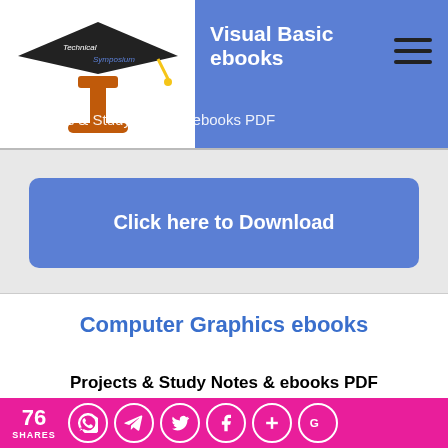[Figure (logo): Technical Symposium graduation cap logo on orange pedestal]
Visual Basic ebooks
Projects & Study Notes & ebooks PDF
Click here to Download
Computer Graphics ebooks
Projects & Study Notes & ebooks PDF
Click here to Download
76 SHARES